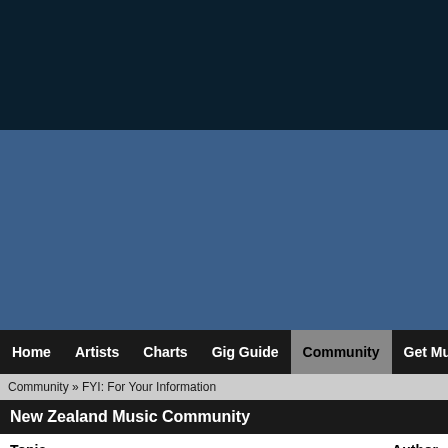[Figure (screenshot): Dark navy header banner area at top of webpage]
[Figure (screenshot): Blue mid-section banner area of webpage]
Home  Artists  Charts  Gig Guide  Community  Get Music  Galle
Community » FYI: For Your Information
New Zealand Music Community
| Topic | Author |
| --- | --- |
| FYI: Creating Press Releases | Shade |
| FYI: Creating a Band Name | Shade |
| FYI: Marketing Tools to aid with Self Promotion | Shade |